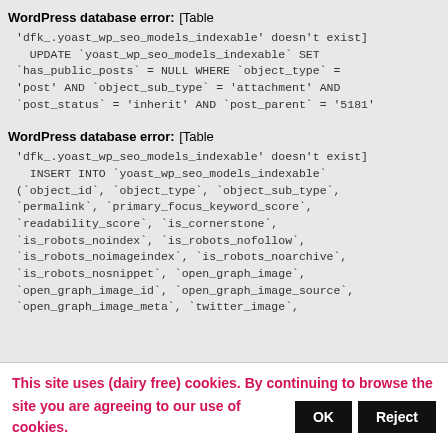WordPress database error: [Table 'dfk_.yoast_wp_seo_models_indexable' doesn't exist] UPDATE `yoast_wp_seo_models_indexable` SET `has_public_posts` = NULL WHERE `object_type` = 'post' AND `object_sub_type` = 'attachment' AND `post_status` = 'inherit' AND `post_parent` = '5181'
WordPress database error: [Table 'dfk_.yoast_wp_seo_models_indexable' doesn't exist] INSERT INTO `yoast_wp_seo_models_indexable` (`object_id`, `object_type`, `object_sub_type`, `permalink`, `primary_focus_keyword_score`, `readability_score`, `is_cornerstone`, `is_robots_noindex`, `is_robots_nofollow`, `is_robots_noimageindex`, `is_robots_noarchive`, `is_robots_nosnippet`, `open_graph_image`, `open_graph_image_id`, `open_graph_image_source`, `open_graph_image_meta`, `twitter_image`,
This site uses (dairy free) cookies. By continuing to browse the site you are agreeing to our use of cookies.